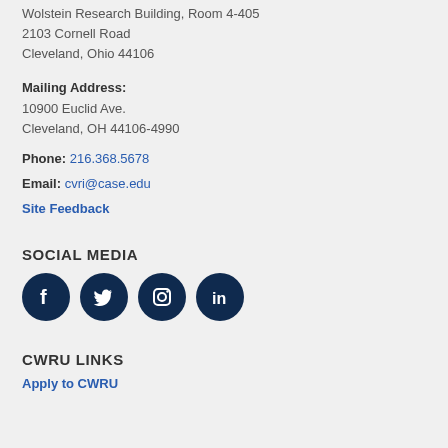Wolstein Research Building, Room 4-405
2103 Cornell Road
Cleveland, Ohio 44106
Mailing Address:
10900 Euclid Ave.
Cleveland, OH 44106-4990
Phone: 216.368.5678
Email: cvri@case.edu
Site Feedback
SOCIAL MEDIA
[Figure (illustration): Four social media icons: Facebook, Twitter, Instagram, LinkedIn — dark navy circular buttons]
CWRU LINKS
Apply to CWRU